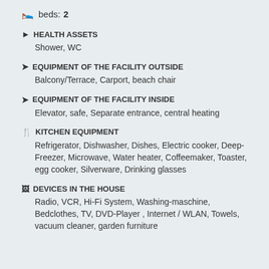beds: 2
HEALTH ASSETS
Shower, WC
EQUIPMENT OF THE FACILITY OUTSIDE
Balcony/Terrace, Carport, beach chair
EQUIPMENT OF THE FACILITY INSIDE
Elevator, safe, Separate entrance, central heating
KITCHEN EQUIPMENT
Refrigerator, Dishwasher, Dishes, Electric cooker, Deep-Freezer, Microwave, Water heater, Coffeemaker, Toaster, egg cooker, Silverware, Drinking glasses
DEVICES IN THE HOUSE
Radio, VCR, Hi-Fi System, Washing-maschine, Bedclothes, TV, DVD-Player , Internet / WLAN, Towels, vacuum cleaner, garden furniture